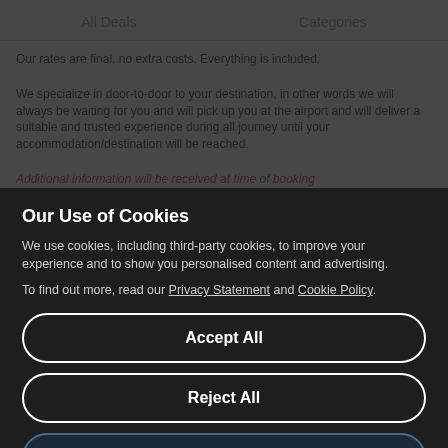All Deals    Categories
Our rates are final, no extra costs. Everything is included.
We specialize in door-to-door to your destination, in other words we will always be waiting for you and will pick up you at the airport and will deliver a suitable and trusted experience during all journey until your accommodation/destination will be reached.
Additional information will be received at time of booking
Not wheelchair accessible
The duration of transfers are approximate, the exact duration will depend on the time of day and traffic conditions
Children must be accompanied by an adult
Stroller accessible
Near public transportation
See Dates
Our Use of Cookies
We use cookies, including third-party cookies, to improve your experience and to show you personalised content and advertising.
To find out more, read our Privacy Statement and Cookie Policy.
Accept All
Reject All
My Options